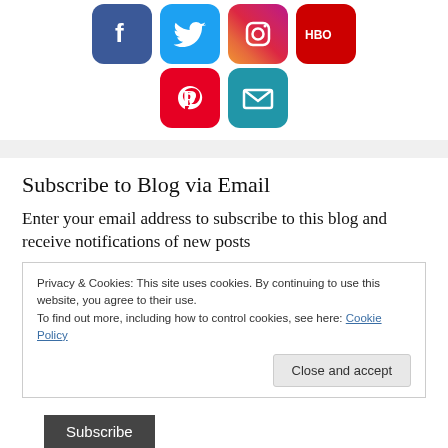[Figure (illustration): Social media icon buttons: Facebook (blue), Twitter (blue bird), Instagram (gradient), HBO (red), Pinterest (red), Email/Mail (blue)]
Subscribe to Blog via Email
Enter your email address to subscribe to this blog and receive notifications of new posts
Privacy & Cookies: This site uses cookies. By continuing to use this website, you agree to their use.
To find out more, including how to control cookies, see here: Cookie Policy
Close and accept
Subscribe